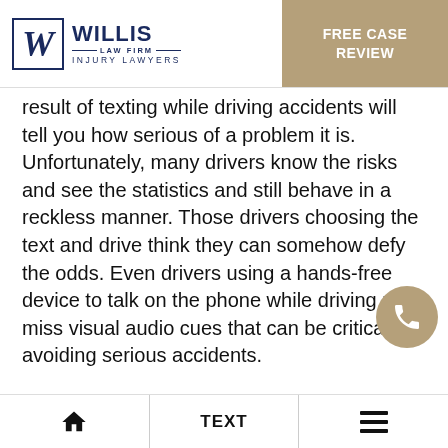Willis Law Firm – Injury Lawyers | FREE CASE REVIEW
result of texting while driving accidents will tell you how serious of a problem it is. Unfortunately, many drivers know the risks and see the statistics and still behave in a reckless manner. Those drivers choosing the text and drive think they can somehow defy the odds. Even drivers using a hands-free device to talk on the phone while driving may miss visual audio cues that can be critical in avoiding serious accidents.
HOME | TEXT | MENU